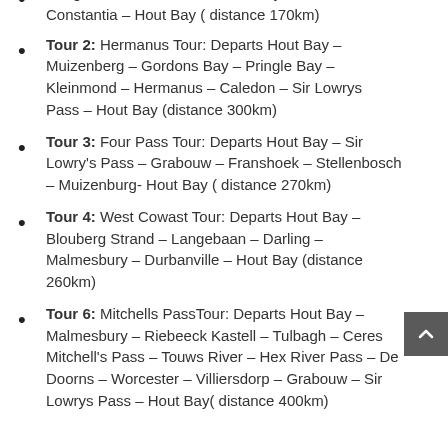Penguin Beach Boulders – Old Boyes Drive – Constantia – Hout Bay ( distance 170km)
Tour 2: Hermanus Tour: Departs Hout Bay – Muizenberg – Gordons Bay – Pringle Bay – Kleinmond – Hermanus – Caledon – Sir Lowrys Pass – Hout Bay (distance 300km)
Tour 3: Four Pass Tour: Departs Hout Bay – Sir Lowry's Pass – Grabouw – Franshoek – Stellenbosch – Muizenburg- Hout Bay ( distance 270km)
Tour 4: West Cowast Tour: Departs Hout Bay – Blouberg Strand – Langebaan – Darling – Malmesbury – Durbanville – Hout Bay (distance 260km)
Tour 6: Mitchells PassTour: Departs Hout Bay – Malmesbury – Riebeeck Kastell – Tulbagh – Ceres Mitchell's Pass – Touws River – Hex River Pass – De Doorns – Worcester – Villiersdorp – Grabouw – Sir Lowrys Pass – Hout Bay( distance 400km)